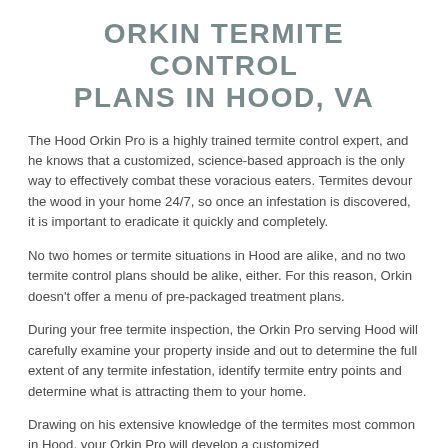ORKIN TERMITE CONTROL PLANS IN HOOD, VA
The Hood Orkin Pro is a highly trained termite control expert, and he knows that a customized, science-based approach is the only way to effectively combat these voracious eaters. Termites devour the wood in your home 24/7, so once an infestation is discovered, it is important to eradicate it quickly and completely.
No two homes or termite situations in Hood are alike, and no two termite control plans should be alike, either. For this reason, Orkin doesn't offer a menu of pre-packaged treatment plans.
During your free termite inspection, the Orkin Pro serving Hood will carefully examine your property inside and out to determine the full extent of any termite infestation, identify termite entry points and determine what is attracting them to your home.
Drawing on his extensive knowledge of the termites most common in Hood, your Orkin Pro will develop a customized